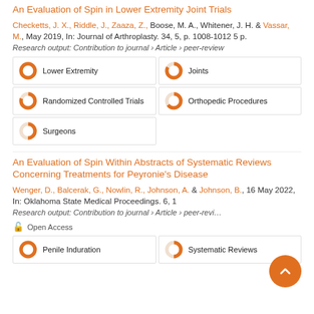An Evaluation of Spin in Lower Extremity Joint Trials
Checketts, J. X., Riddle, J., Zaaza, Z., Boose, M. A., Whitener, J. H. & Vassar, M., May 2019, In: Journal of Arthroplasty. 34, 5, p. 1008-1012 5 p.
Research output: Contribution to journal › Article › peer-review
[Figure (infographic): Keyword badges with donut chart percentage indicators: Lower Extremity 100%, Joints 83%, Randomized Controlled Trials 80%, Orthopedic Procedures 65%, Surgeons 50%]
An Evaluation of Spin Within Abstracts of Systematic Reviews Concerning Treatments for Peyronie's Disease
Wenger, D., Balcerak, G., Nowlin, R., Johnson, A. & Johnson, B., 16 May 2022, In: Oklahoma State Medical Proceedings. 6, 1
Research output: Contribution to journal › Article › peer-review
Open Access
[Figure (infographic): Keyword badges with donut chart percentage indicators: Penile Induration 100%, Systematic Reviews 50%]